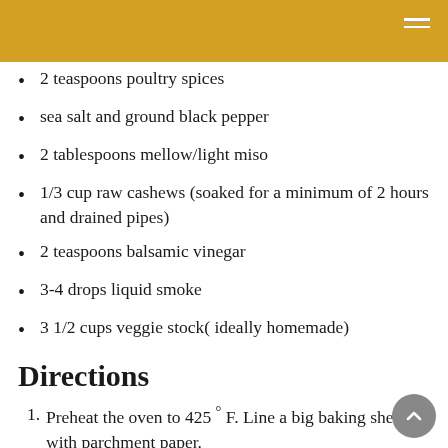2 teaspoons poultry spices
sea salt and ground black pepper
2 tablespoons mellow/light miso
1/3 cup raw cashews (soaked for a minimum of 2 hours and drained pipes)
2 teaspoons balsamic vinegar
3-4 drops liquid smoke
3 1/2 cups veggie stock( ideally homemade)
Directions
Preheat the oven to 425 ° F. Line a big baking sheet with parchment paper.
Cut the onion into 8 wedges and move to the baking sheet. Cut the potato into 1-